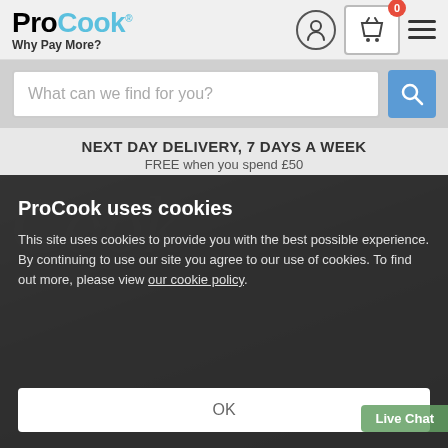[Figure (screenshot): ProCook website header with logo, user icon, basket icon (0 items), and hamburger menu]
[Figure (screenshot): Search bar with placeholder text 'What can we find for you?' and blue search button]
NEXT DAY DELIVERY, 7 DAYS A WEEK
FREE when you spend £50
[Figure (screenshot): Cookie consent overlay on ProCook website hero image with title 'ProCook uses cookies', body text about cookie policy, and OK button]